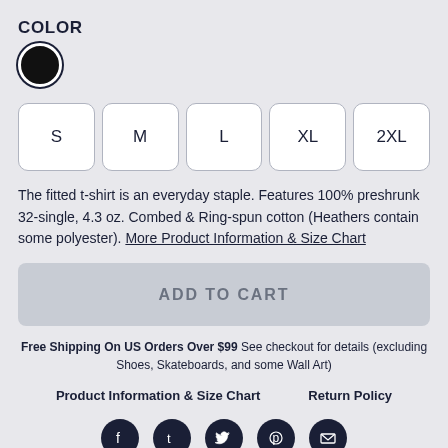COLOR
[Figure (other): Black color swatch circle with white border and dark ring]
[Figure (other): Size selector buttons: S, M, L, XL, 2XL]
The fitted t-shirt is an everyday staple. Features 100% preshrunk 32-single, 4.3 oz. Combed & Ring-spun cotton (Heathers contain some polyester). More Product Information & Size Chart
[Figure (other): ADD TO CART button (disabled/greyed out)]
Free Shipping On US Orders Over $99 See checkout for details (excluding Shoes, Skateboards, and some Wall Art)
Product Information & Size Chart    Return Policy
[Figure (other): Social media icons: Facebook, Tumblr, Twitter, Pinterest, Email]